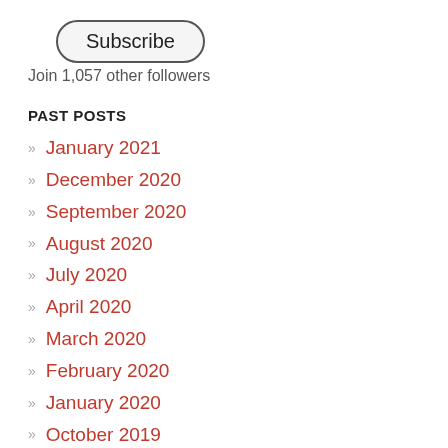[Figure (other): Subscribe button with rounded pill border]
Join 1,057 other followers
PAST POSTS
» January 2021
» December 2020
» September 2020
» August 2020
» July 2020
» April 2020
» March 2020
» February 2020
» January 2020
» October 2019